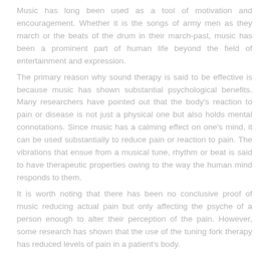Music has long been used as a tool of motivation and encouragement. Whether it is the songs of army men as they march or the beats of the drum in their march-past, music has been a prominent part of human life beyond the field of entertainment and expression.
The primary reason why sound therapy is said to be effective is because music has shown substantial psychological benefits. Many researchers have pointed out that the body's reaction to pain or disease is not just a physical one but also holds mental connotations. Since music has a calming effect on one's mind, it can be used substantially to reduce pain or reaction to pain. The vibrations that ensue from a musical tune, rhythm or beat is said to have therapeutic properties owing to the way the human mind responds to them.
It is worth noting that there has been no conclusive proof of music reducing actual pain but only affecting the psyche of a person enough to alter their perception of the pain. However, some research has shown that the use of the tuning fork therapy has reduced levels of pain in a patient's body.